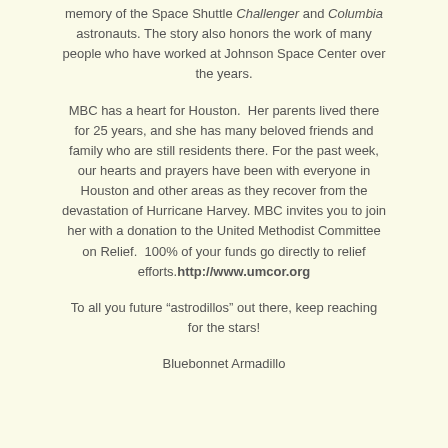memory of the Space Shuttle Challenger and Columbia astronauts. The story also honors the work of many people who have worked at Johnson Space Center over the years.
MBC has a heart for Houston.  Her parents lived there for 25 years, and she has many beloved friends and family who are still residents there. For the past week, our hearts and prayers have been with everyone in Houston and other areas as they recover from the devastation of Hurricane Harvey. MBC invites you to join her with a donation to the United Methodist Committee on Relief.  100% of your funds go directly to relief efforts. http://www.umcor.org
To all you future “astrodillos” out there, keep reaching for the stars!
Bluebonnet Armadillo